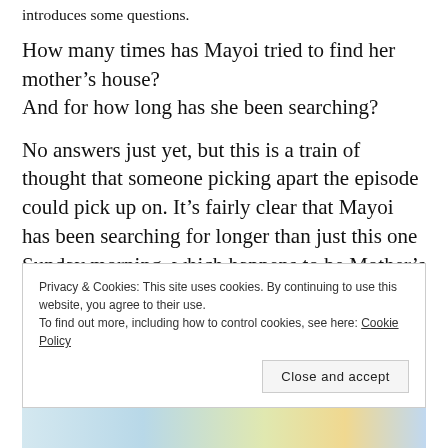introduces some questions.
How many times has Mayoi tried to find her mother's house?
And for how long has she been searching?
No answers just yet, but this is a train of thought that someone picking apart the episode could pick up on. It's fairly clear that Mayoi has been searching for longer than just this one Sunday morning, which happens to be Mother's Day.
Privacy & Cookies: This site uses cookies. By continuing to use this website, you agree to their use.
To find out more, including how to control cookies, see here: Cookie Policy
Close and accept
[Figure (illustration): Bottom strip showing a colorful anime-style illustration]